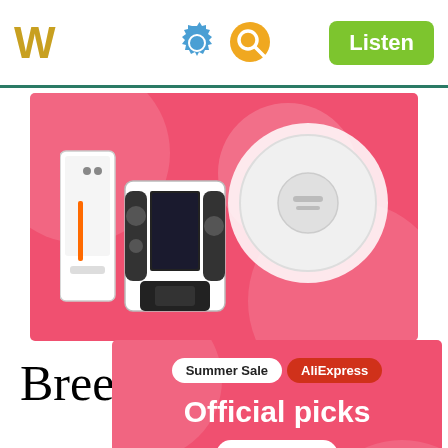W [gear icon] [search icon] Listen
[Figure (photo): AliExpress advertisement banner with pink/coral background showing electronic products including a robot vacuum, game console, and Nintendo Switch OLED on a pink background with decorative circles]
Breeding
[Figure (photo): AliExpress Summer Sale advertisement banner with pink/coral background showing 'Summer Sale AliExpress' pill labels, 'Official picks' heading, 'Shop now' button, and a robot vacuum cleaner at the bottom]